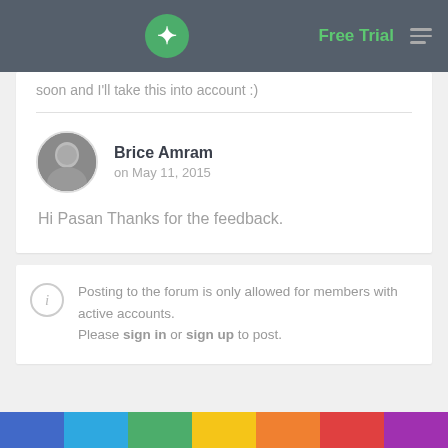Free Trial
soon and I'll take this into account :)
Brice Amram
on May 11, 2015
Hi Pasan Thanks for the feedback.
Posting to the forum is only allowed for members with active accounts. Please sign in or sign up to post.